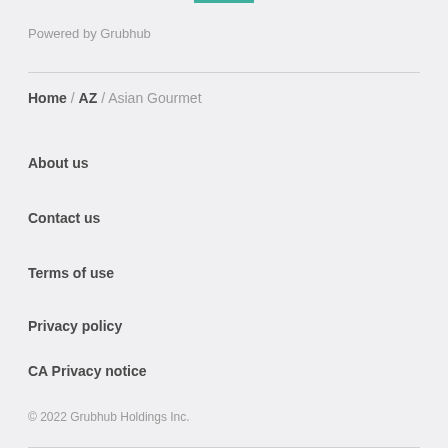Powered by Grubhub
Home / AZ / Asian Gourmet
About us
Contact us
Terms of use
Privacy policy
CA Privacy notice
Do not sell my info
© 2022 Grubhub Holdings Inc.